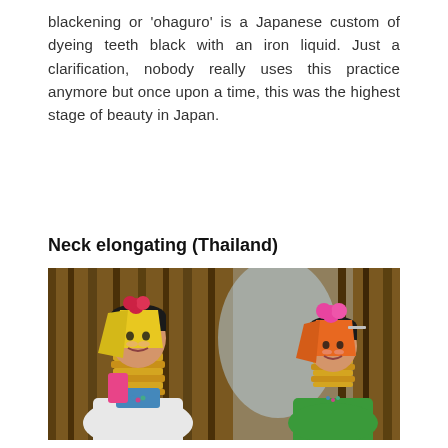blackening or 'ohaguro' is a Japanese custom of dyeing teeth black with an iron liquid. Just a clarification, nobody really uses this practice anymore but once upon a time, this was the highest stage of beauty in Japan.
Neck elongating (Thailand)
[Figure (photo): Two Kayan (long-neck) women from Thailand wearing traditional brass neck rings (coils) and colorful headdresses. The adult woman on the left wears a white top and yellow and pink headscarf; the young girl on the right wears a green top and orange and pink headscarf. Both wear many stacked brass neck coils. The background is a wooden interior.]